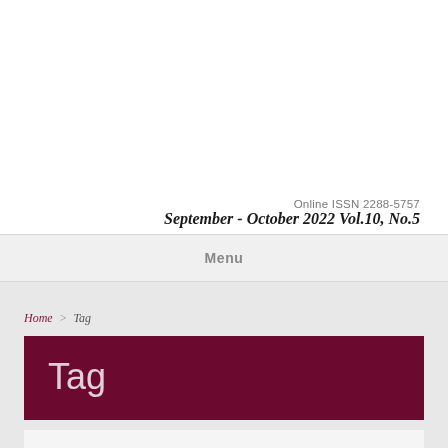Online ISSN 2288-5757
September - October 2022 Vol.10, No.5
Menu
Home > Tag
Tag
Showing "ASEAN-Chinan relations"